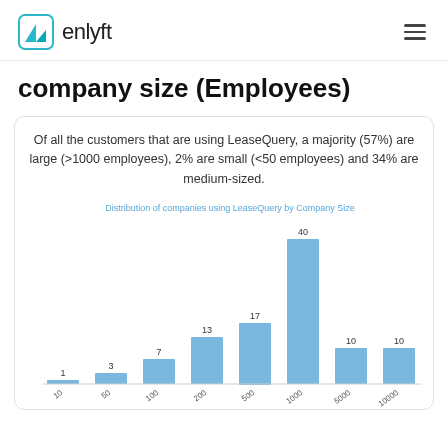enlyft
company size (Employees)
Of all the customers that are using LeaseQuery, a majority (57%) are large (>1000 employees), 2% are small (<50 employees) and 34% are medium-sized.
[Figure (bar-chart): Distribution of companies using LeaseQuery by Company Size]